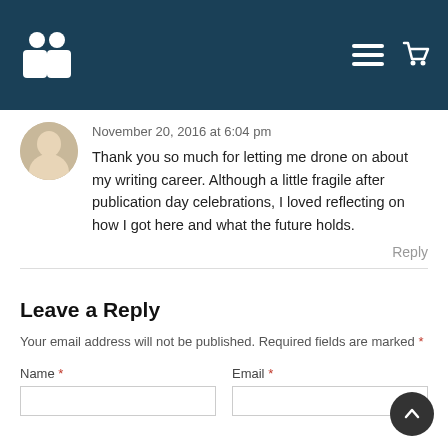[Site logo and navigation header]
November 20, 2016 at 6:04 pm
Thank you so much for letting me drone on about my writing career. Although a little fragile after publication day celebrations, I loved reflecting on how I got here and what the future holds.
Reply
Leave a Reply
Your email address will not be published. Required fields are marked *
Name *
Email *